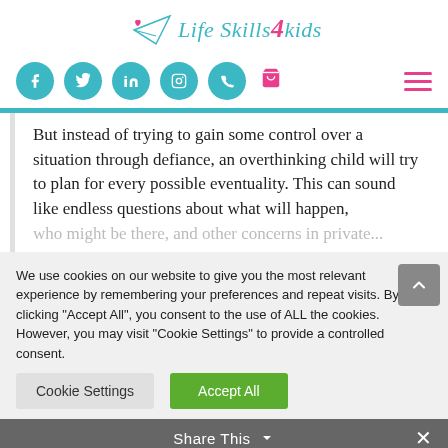[Figure (logo): Life Skills 4 Kids logo with paper plane icon, teal and pink text]
[Figure (infographic): Navigation row with teal social media icons (Facebook, Twitter, LinkedIn, Instagram, Phone), pink shopping cart, and pink hamburger menu]
But instead of trying to gain some control over a situation through defiance, an overthinking child will try to plan for every possible eventuality. This can sound like endless questions about what will happen, who might be there, and other concerns in private...
We use cookies on our website to give you the most relevant experience by remembering your preferences and repeat visits. By clicking “Accept All”, you consent to the use of ALL the cookies. However, you may visit "Cookie Settings" to provide a controlled consent.
Share This
Cookie Settings
Accept All